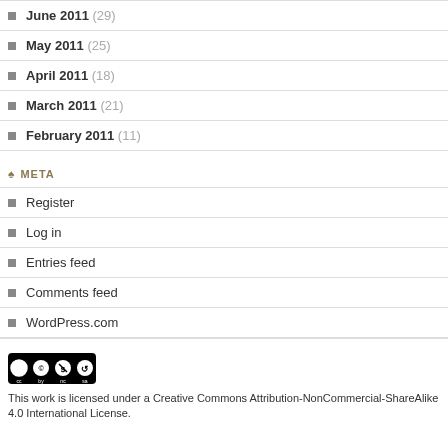June 2011 (29)
May 2011 (25)
April 2011 (18)
March 2011 (21)
February 2011 (11)
META
Register
Log in
Entries feed
Comments feed
WordPress.com
[Figure (logo): Creative Commons Attribution-NonCommercial-ShareAlike license badge showing CC BY NC SA icons]
This work is licensed under a Creative Commons Attribution-NonCommercial-ShareAlike 4.0 International License.